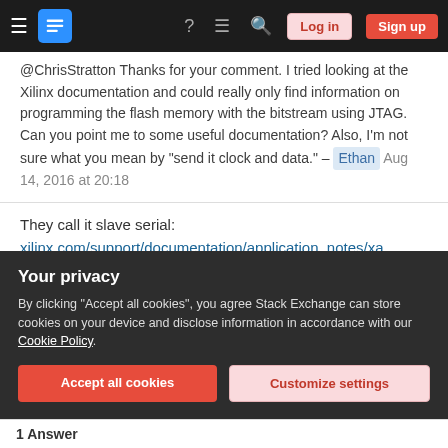Stack Exchange navigation bar with Log in and Sign up buttons
@ChrisStratton Thanks for your comment. I tried looking at the Xilinx documentation and could really only find information on programming the flash memory with the bitstream using JTAG. Can you point me to some useful documentation? Also, I'm not sure what you mean by "send it clock and data." – Ethan  Aug 14, 2016 at 20:18
They call it slave serial: xilinx.com/support/documentation/application_notes/xapp502.pdf Again, this is distinct from the master mode they have which supports some flashes, take time to look at all your options before deciding, though if you already have an MCU in the system letting that do it via
Your privacy
By clicking "Accept all cookies", you agree Stack Exchange can store cookies on your device and disclose information in accordance with our Cookie Policy.
Accept all cookies   Customize settings
1 Answer